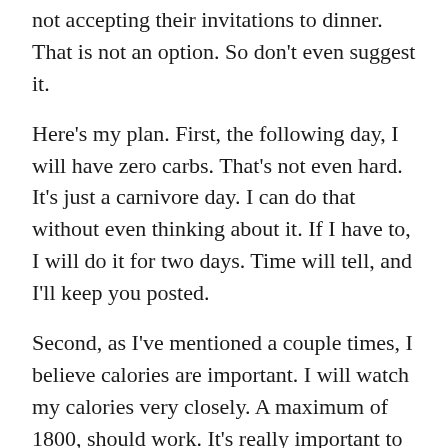not accepting their invitations to dinner. That is not an option. So don't even suggest it.
Here's my plan. First, the following day, I will have zero carbs. That's not even hard. It's just a carnivore day. I can do that without even thinking about it. If I have to, I will do it for two days. Time will tell, and I'll keep you posted.
Second, as I've mentioned a couple times, I believe calories are important. I will watch my calories very closely. A maximum of 1800, should work. It's really important to track what I eat. To be honest, I've been lax the last two weeks. I'm confessing that to you, and will change it. You may hold me accountable. Go ahead and ask me anytime.